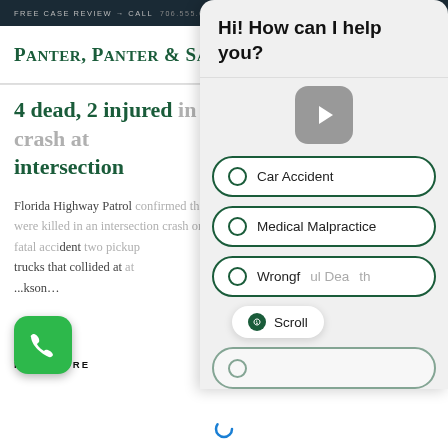FREE CASE REVIEW → CALL OR TEXT
[Figure (screenshot): Law firm website screenshot showing Panter, Panter & Sampedro logo with navigation icons]
4 dead, 2 injured in 2-car crash at intersection
Florida Highway Patrol confirmed that four people were killed in an intersection crash on Jan. 24. The fatal accident involved two pickup trucks that collided at Jackson...
READ MORE
[Figure (screenshot): Chat overlay showing 'Hi! How can I help you?' with options: Car Accident, Medical Malpractice, Wrongful Death, and a Scroll button. Also shows phone call button and video play button.]